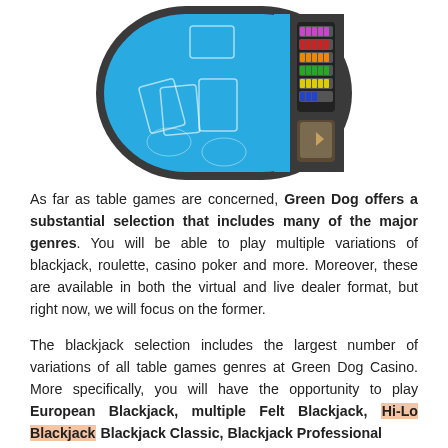[Figure (illustration): Overhead view illustration of a blackjack/casino table with teal/blue felt surface showing card positions and chip tray with colorful chips, rounded rectangular shape with dark border]
As far as table games are concerned, Green Dog offers a substantial selection that includes many of the major genres. You will be able to play multiple variations of blackjack, roulette, casino poker and more. Moreover, these are available in both the virtual and live dealer format, but right now, we will focus on the former.

The blackjack selection includes the largest number of variations of all table games genres at Green Dog Casino. More specifically, you will have the opportunity to play European Blackjack, multiple Felt Blackjack, Hi-Lo Blackjack Blackjack Classic, Blackjack Professional